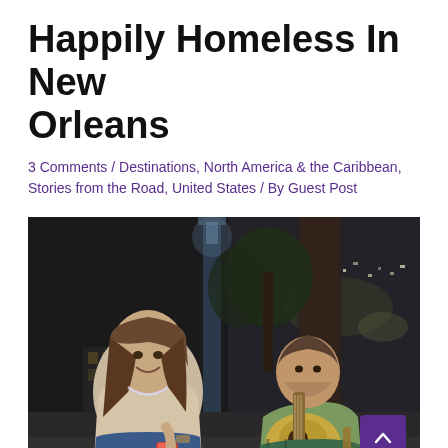Happily Homeless In New Orleans
3 Comments / Destinations, North America & the Caribbean, Stories from the Road, United States / By Guest Post
[Figure (photo): Night photo of a young woman sitting outdoors smiling with a beaded necklace and a can in hand, and a man playing guitar beside a tree trunk, with city lights visible in the background.]